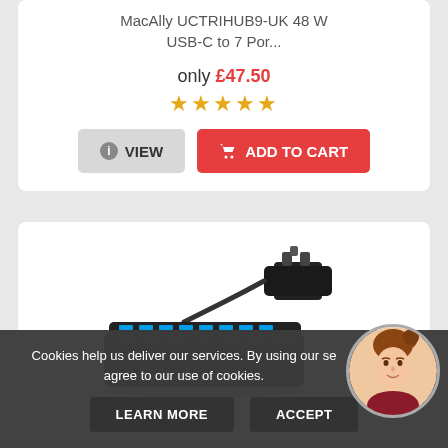MacAlly UCTRIHUB9-UK 48 W USB-C to 7 Por...
only £47.50
[Figure (other): Five gold star rating]
VIEW
ADD TO CART
[Figure (photo): USB hub device (multi-port black USB hub with power adapter)]
Cookies help us deliver our services. By using our se... agree to our use of cookies.
LEARN MORE
ACCEPT